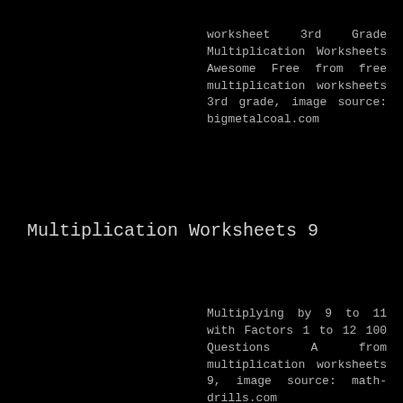worksheet 3rd Grade Multiplication Worksheets Awesome Free from free multiplication worksheets 3rd grade, image source: bigmetalcoal.com
Multiplication Worksheets 9
Multiplying by 9 to 11 with Factors 1 to 12 100 Questions A from multiplication worksheets 9, image source: math-drills.com